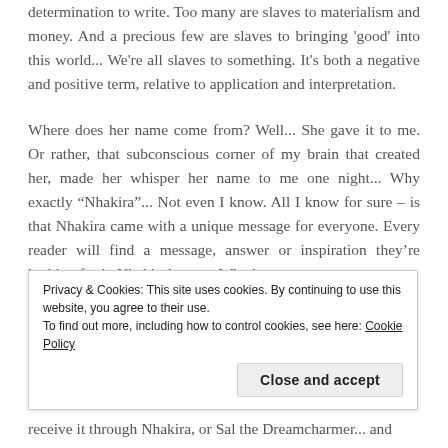determination to write. Too many are slaves to materialism and money. And a precious few are slaves to bringing 'good' into this world... We're all slaves to something. It's both a negative and positive term, relative to application and interpretation.
Where does her name come from? Well... She gave it to me. Or rather, that subconscious corner of my brain that created her, made her whisper her name to me one night... Why exactly “Nhakira”... Not even I know. All I know for sure – is that Nhakira came with a unique message for everyone. Every reader will find a message, answer or inspiration they’re looking for in Nhakira’s story. Whether
Privacy & Cookies: This site uses cookies. By continuing to use this website, you agree to their use.
To find out more, including how to control cookies, see here: Cookie Policy
receive it through Nhakira, or Sal the Dreamcharmer... and